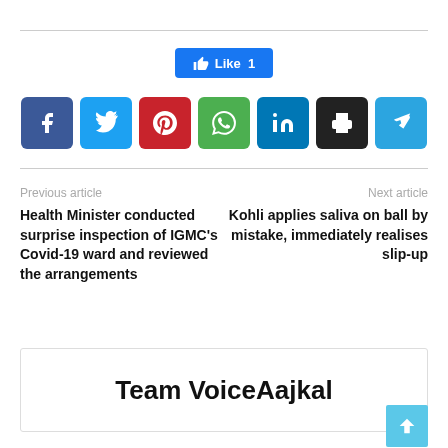[Figure (infographic): Facebook Like button showing 'Like 1' in blue]
[Figure (infographic): Row of social media share buttons: Facebook, Twitter, Pinterest, WhatsApp, LinkedIn, Print, Telegram]
Previous article
Next article
Health Minister conducted surprise inspection of IGMC's Covid-19 ward and reviewed the arrangements
Kohli applies saliva on ball by mistake, immediately realises slip-up
Team VoiceAajkal